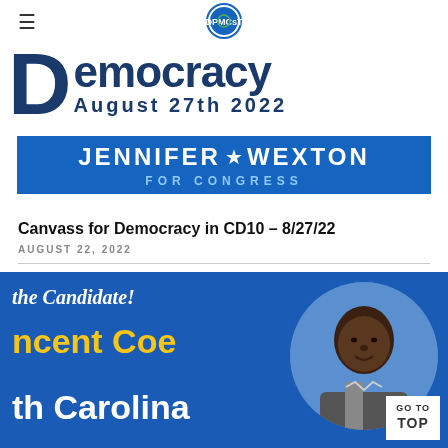DPMCast logo header with hamburger menu
[Figure (illustration): Canvass for Democracy banner image with large 'D' and 'emocracy' text in dark blue, 'August 27th 2022' below, and Jennifer Wexton for Congress logo bar]
Canvass for Democracy in CD10 – 8/27/22
AUGUST 22, 2022
[Figure (illustration): Blue background promotional image showing 'the Candidate!' in white italic text, 'ncent Coe' in yellow bold text, 'th Carolina' in white bold text, with a headshot photo of a Black man in a suit on the right side, and a 'GO TO TOP' button overlay in bottom right]